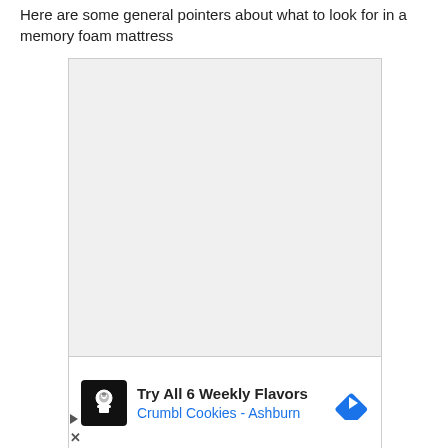Here are some general pointers about what to look for in a memory foam mattress
[Figure (other): Large empty gray advertisement placeholder box, with a Crumbl Cookies ad banner below it showing a chef logo icon, the text 'Try All 6 Weekly Flavors' and 'Crumbl Cookies - Ashburn' in blue, and a blue diamond navigation arrow icon. Below the ad container are play and close (X) control icons.]